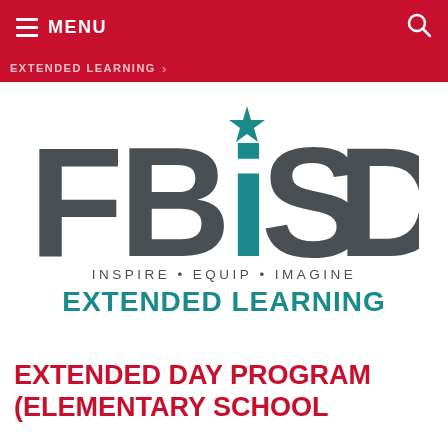MENU
EXTENDED LEARNING
[Figure (logo): FBISD logo with teal star on the letter I, gray letters F, B, S, D. Below: INSPIRE • EQUIP • IMAGINE in gray, and EXTENDED LEARNING in teal bold text.]
EXTENDED DAY PROGRAM (ELEMENTARY SCHOOL